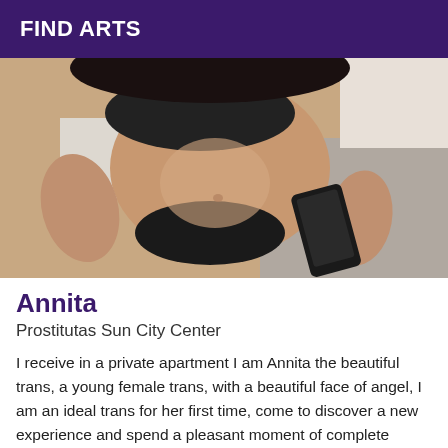FIND ARTS
[Figure (photo): A person in black lingerie kneeling on a bed with a smartphone visible nearby]
Annita
Prostitutas Sun City Center
I receive in a private apartment I am Annita the beautiful trans, a young female trans, with a beautiful face of angel, I am an ideal trans for her first time, come to discover a new experience and spend a pleasant moment of complete massage in my company. Sublime